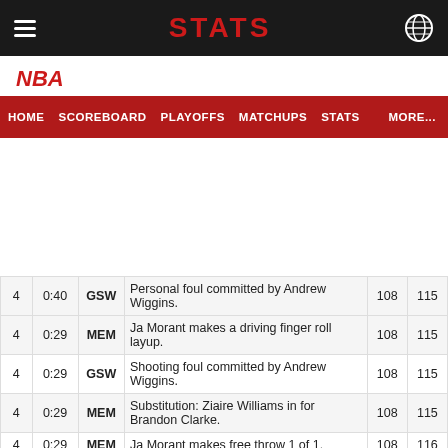STATS
NBA
| Q | Time | Team | Description | GSW | MEM |
| --- | --- | --- | --- | --- | --- |
| 4 | 0:40 | GSW | Personal foul committed by Andrew Wiggins. | 108 | 115 |
| 4 | 0:29 | MEM | Ja Morant makes a driving finger roll layup. | 108 | 115 |
| 4 | 0:29 | GSW | Shooting foul committed by Andrew Wiggins. | 108 | 115 |
| 4 | 0:29 | MEM | Substitution: Ziaire Williams in for Brandon Clarke. | 108 | 115 |
| 4 | 0:29 | MEM | Ja Morant makes free throw 1 of 1. | 108 | 116 |
| 4 | 0:29 | GSW | Warriors take a full timeout. | 108 | 116 |
| 4 | 0:23 | GSW | Klay Thompson misses a fade away from 9 feet out. | 108 | 116 |
| 4 | 0:20 | MEM | Ja Morant with a defensive rebound. | 108 | 116 |
| 4 | 0:09 | MEM | Gary Payton II steals the ball from Tyus Jones. | 108 | 116 |
| 4 | 0:05 | GSW | Andrew Wiggins misses a driving finger roll layup. | 108 | 116 |